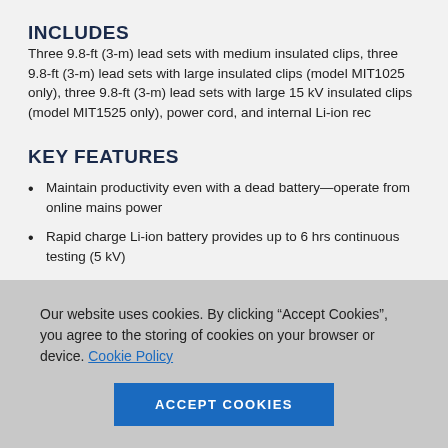INCLUDES
Three 9.8-ft (3-m) lead sets with medium insulated clips, three 9.8-ft (3-m) lead sets with large insulated clips (model MIT1025 only), three 9.8-ft (3-m) lead sets with large 15 kV insulated clips (model MIT1525 only), power cord, and internal Li-ion rec
KEY FEATURES
Maintain productivity even with a dead battery—operate from online mains power
Rapid charge Li-ion battery provides up to 6 hrs continuous testing (5 kV)
Our website uses cookies. By clicking “Accept Cookies”, you agree to the storing of cookies on your browser or device. Cookie Policy
ACCEPT COOKIES